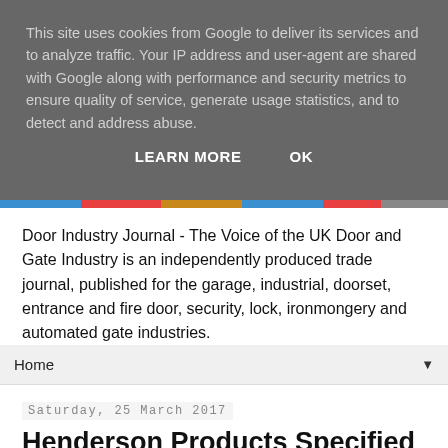This site uses cookies from Google to deliver its services and to analyze traffic. Your IP address and user-agent are shared with Google along with performance and security metrics to ensure quality of service, generate usage statistics, and to detect and address abuse.
LEARN MORE    OK
Door Industry Journal - The Voice of the UK Door and Gate Industry is an independently produced trade journal, published for the garage, industrial, doorset, entrance and fire door, security, lock, ironmongery and automated gate industries.
Home
Saturday, 25 March 2017
Henderson Products Specified for High-End Hotel in Tianjin, China